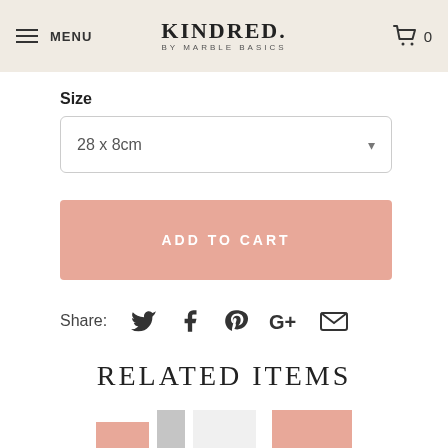MENU | KINDRED. BY MARBLE BASICS | Cart 0
Size
28 x 8cm
ADD TO CART
Share:
RELATED ITEMS
[Figure (photo): Product thumbnails showing related items at bottom of page]